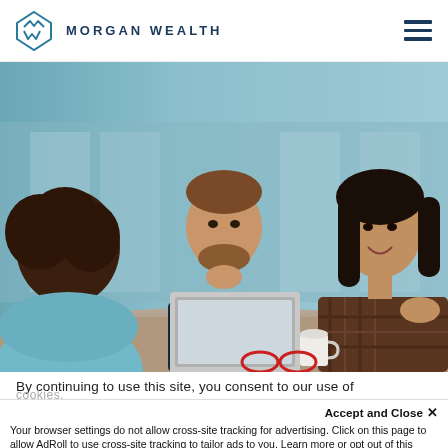MORGAN WEALTH
[Figure (photo): Three people in a business meeting around a table with a laptop open. A man in a suit with a blue tie sits in the center looking at the camera. A woman in a plaid top sits on the right, gesturing and speaking. Another person with curly hair sits on the left with their back to the camera.]
By continuing to use this site, you consent to our use of cookies.
Accept and Close ✕
Your browser settings do not allow cross-site tracking for advertising. Click on this page to allow AdRoll to use cross-site tracking to tailor ads to you. Learn more or opt out of this AdRoll tracking by clicking here. This message only appears once.